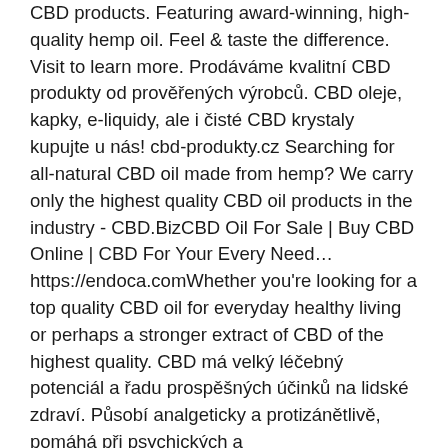CBD products. Featuring award-winning, high-quality hemp oil. Feel & taste the difference. Visit to learn more. Prodáváme kvalitní CBD produkty od prověřených výrobců. CBD oleje, kapky, e-liquidy, ale i čisté CBD krystaly kupujte u nás! cbd-produkty.cz Searching for all-natural CBD oil made from hemp? We carry only the highest quality CBD oil products in the industry - CBD.BizCBD Oil For Sale | Buy CBD Online | CBD For Your Every Need…https://endoca.comWhether you're looking for a top quality CBD oil for everyday healthy living or perhaps a stronger extract of CBD of the highest quality. CBD má velký léčebný potenciál a řadu prospěšných účinků na lidské zdraví. Působí analgeticky a protizánětlivě, pomáhá při psychických a neurodegenerativních chorobách. V kategorii CBD najdeš jak samotný CBD v různých formách - cbd extrakt, cbd olej, cbd krystal, cbd weed a cbd hash, tak všechno možný i zdánlivě nemožný, co má s CBD nějakou spojitost.